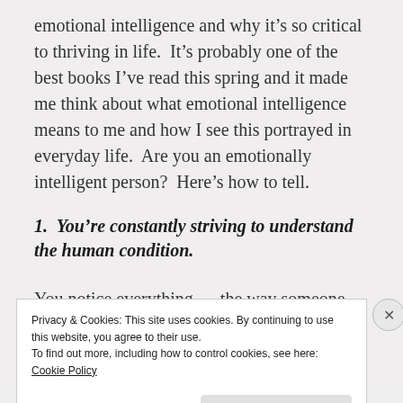emotional intelligence and why it's so critical to thriving in life.  It's probably one of the best books I've read this spring and it made me think about what emotional intelligence means to me and how I see this portrayed in everyday life.  Are you an emotionally intelligent person?  Here's how to tell.
1.  You're constantly striving to understand the human condition.
You notice everything — the way someone
Privacy & Cookies: This site uses cookies. By continuing to use this website, you agree to their use.
To find out more, including how to control cookies, see here: Cookie Policy